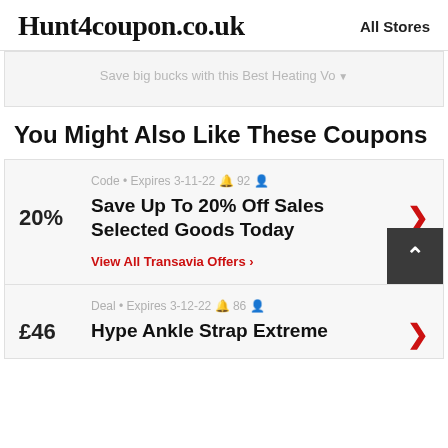Hunt4coupon.co.uk | All Stores
Save big bucks with this Best Heating Vo
You Might Also Like These Coupons
Code • Expires 3-11-22 🔔 92 👤
Save Up To 20% Off Sales Selected Goods Today
View All Transavia Offers >
Deal • Expires 3-12-22 🔔 86 👤
Hype Ankle Strap Extreme